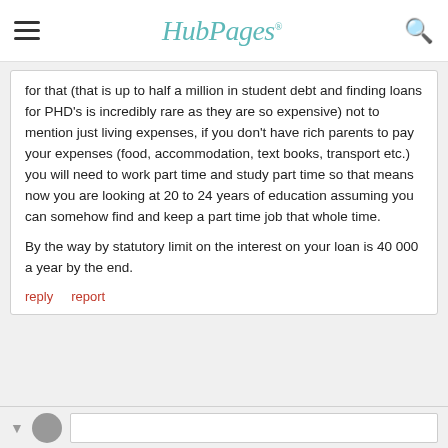HubPages
for that (that is up to half a million in student debt and finding loans for PHD's is incredibly rare as they are so expensive) not to mention just living expenses, if you don't have rich parents to pay your expenses (food, accommodation, text books, transport etc.) you will need to work part time and study part time so that means now you are looking at 20 to 24 years of education assuming you can somehow find and keep a part time job that whole time.

By the way by statutory limit on the interest on your loan is 40 000 a year by the end.
reply   report